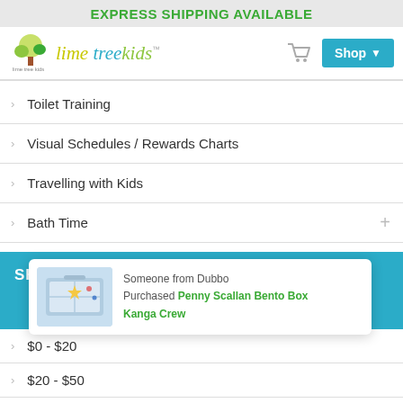EXPRESS SHIPPING AVAILABLE
[Figure (logo): Lime Tree Kids logo with tree illustration and stylized text]
> Toilet Training
> Visual Schedules / Rewards Charts
> Travelling with Kids
> Bath Time
SHOP BY PRICE
Someone from Dubbo
Purchased Penny Scallan Bento Box Kanga Crew
> $0 - $20
> $20 - $50